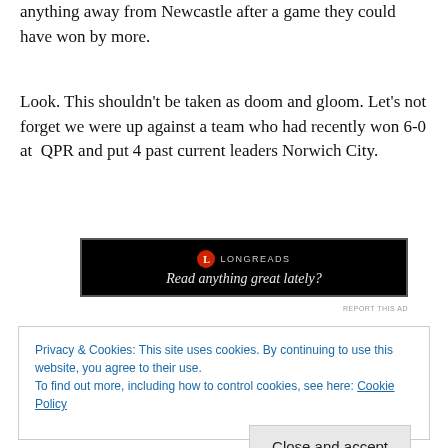advantage and boy did they make it count. Let's not take anything away from Newcastle after a game they could have won by more.
Look. This shouldn't be taken as doom and gloom. Let's not forget we were up against a team who had recently won 6-0 at QPR and put 4 past current leaders Norwich City.
[Figure (other): Longreads advertisement banner with black background. Logo: red circle with 'L'. Text: 'LONGREADS' and 'Read anything great lately?']
Privacy & Cookies: This site uses cookies. By continuing to use this website, you agree to their use.
To find out more, including how to control cookies, see here: Cookie Policy
Close and accept